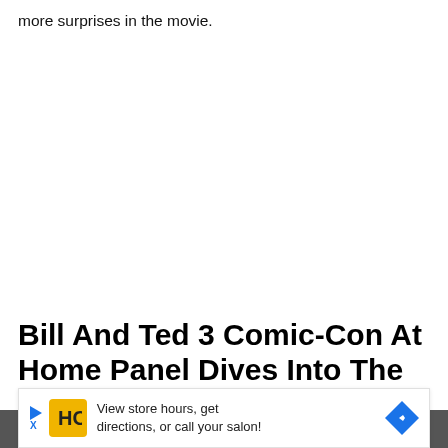more surprises in the movie.
Bill And Ted 3 Comic-Con At Home Panel Dives Into The Nostalgia
[Figure (photo): Photo strip showing people, partially visible at bottom of page]
View store hours, get directions, or call your salon!